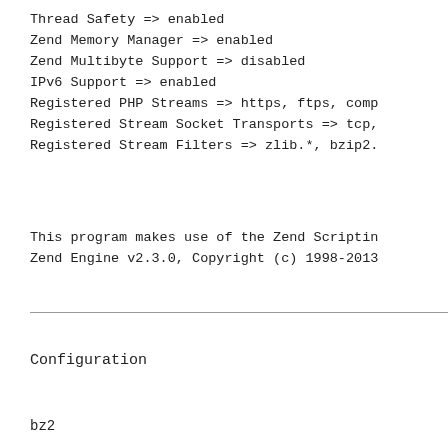Thread Safety => enabled
Zend Memory Manager => enabled
Zend Multibyte Support => disabled
IPv6 Support => enabled
Registered PHP Streams => https, ftps, comp
Registered Stream Socket Transports => tcp,
Registered Stream Filters => zlib.*, bzip2.
This program makes use of the Zend Scriptin
Zend Engine v2.3.0, Copyright (c) 1998-2013
Configuration
bz2